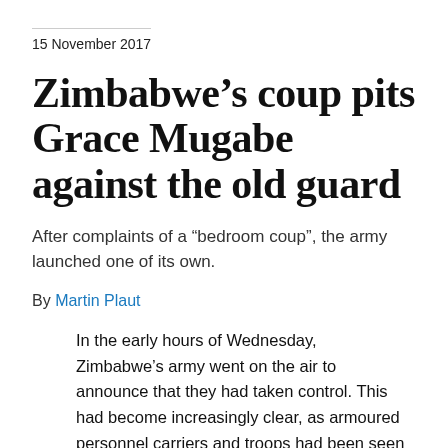15 November 2017
Zimbabwe’s coup pits Grace Mugabe against the old guard
After complaints of a “bedroom coup”, the army launched one of its own.
By Martin Plaut
In the early hours of Wednesday, Zimbabwe’s army went on the air to announce that they had taken control. This had become increasingly clear, as armoured personnel carriers and troops had been seen around Harare on Tuesday and the